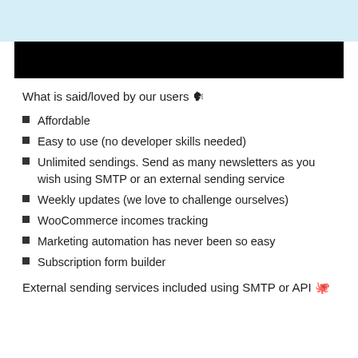[Figure (other): Light blue header area at top of page]
[Figure (other): Black banner bar below the light blue header]
What is said/loved by our users 🗣
Affordable
Easy to use (no developer skills needed)
Unlimited sendings. Send as many newsletters as you wish using SMTP or an external sending service
Weekly updates (we love to challenge ourselves)
WooCommerce incomes tracking
Marketing automation has never been so easy
Subscription form builder
External sending services included using SMTP or API 🐙